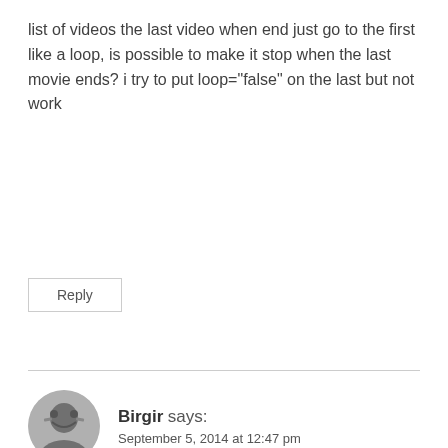list of videos the last video when end just go to the first like a loop, is possible to make it stop when the last movie ends? i try to put loop="false" on the last but not work
Reply
Birgir says: September 5, 2014 at 12:47 pm
@JR thanks
It would be great if you could use the github issue tracker to report it